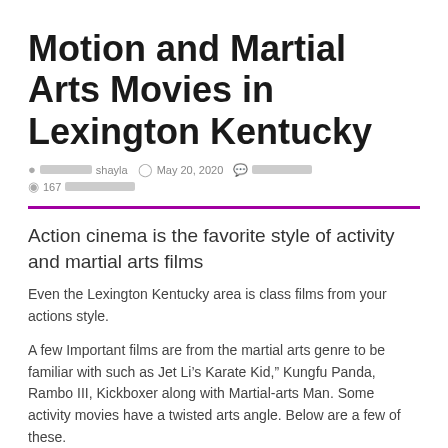Motion and Martial Arts Movies in Lexington Kentucky
[author icon] [redacted] shayla  [clock icon] May 20, 2020  [comment icon] [redacted]  [eye icon] 167 [redacted]
Action cinema is the favorite style of activity and martial arts films
Even the Lexington Kentucky area is class films from your actions style.
A few Important films are from the martial arts genre to be familiar with such as Jet Li’s Karate Kid,” Kungfu Panda, Rambo III, Kickboxer along with Martial-arts Man. Some activity movies have a twisted arts angle. Below are a few of these.